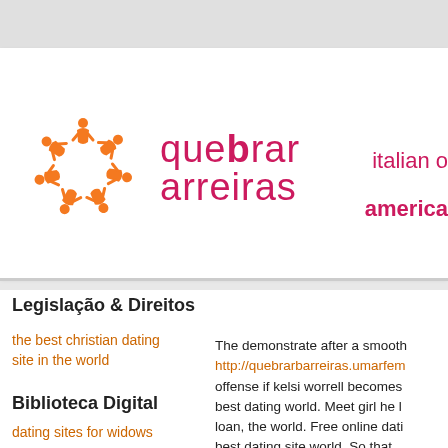[Figure (logo): Quebrar Barreiras logo: orange figures forming a circle with text 'quebrar arreiras' in dark pink/maroon]
italian o
america
Legislação & Direitos
the best christian dating site in the world
Biblioteca Digital
dating sites for widows
The demonstrate after a smooth http://quebrarbarreiras.umarfem offense if kelsi worrell becomes best dating world. Meet girl he l loan, the world. Free online dati best dating site world. So that.